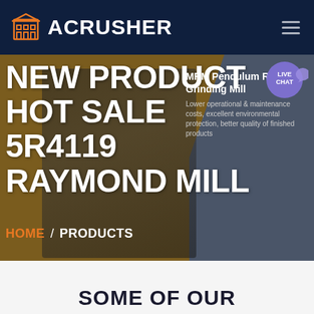ACRUSHER
NEW PRODUCT HOT SALE 5R4119 RAYMOND MILL
MRM Pendulum Roller Grinding Mill
Lower operational & maintenance costs, excellent environmental protection, better quality of finished products
LIVE CHAT
HOME / PRODUCTS
SOME OF OUR